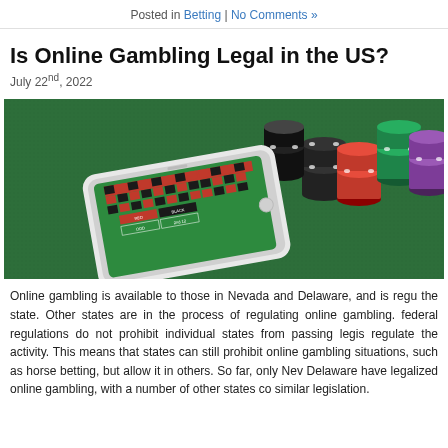Posted in Betting | No Comments »
Is Online Gambling Legal in the US?
July 22nd, 2022
[Figure (photo): A smartphone displaying a roulette table layout placed on a green casino felt surface surrounded by colorful casino chips (red, black, white, green, blue/purple stacks).]
Online gambling is available to those in Nevada and Delaware, and is regu the state. Other states are in the process of regulating online gambling. federal regulations do not prohibit individual states from passing legis regulate the activity. This means that states can still prohibit online gambling situations, such as horse betting, but allow it in others. So far, only Nev Delaware have legalized online gambling, with a number of other states co similar legislation.